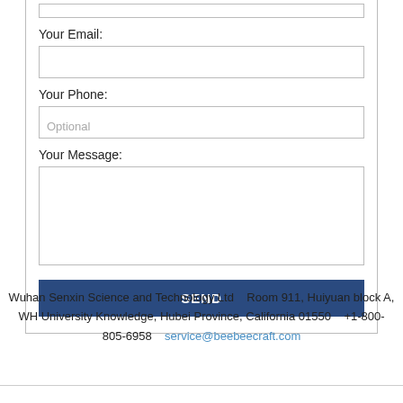Your Email:
Your Phone:
Optional
Your Message:
SEND
Wuhan Senxin Science and Technology Ltd    Room 911, Huiyuan block A, WH University Knowledge, Hubei Province, California 01550    +1-800-805-6958    service@beebeecraft.com